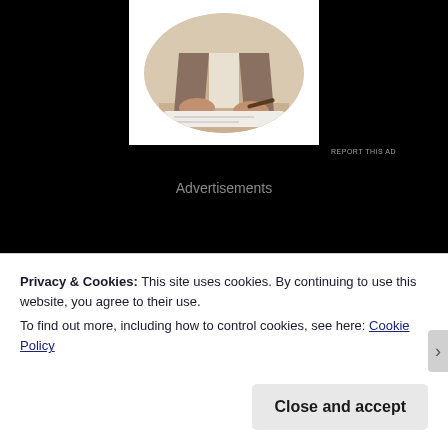[Figure (photo): Circular cropped photo of a person signing or writing documents at a desk, visible hands holding a pen over papers]
REPORT THIS AD
Advertisements
Privacy & Cookies: This site uses cookies. By continuing to use this website, you agree to their use.
To find out more, including how to control cookies, see here: Cookie Policy
Close and accept